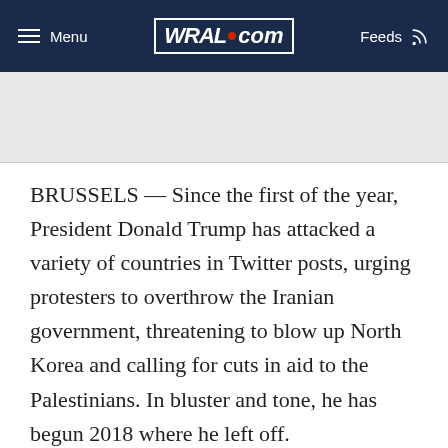Menu | WRAL.com | Feeds
[Figure (other): Gray advertisement banner area]
BRUSSELS — Since the first of the year, President Donald Trump has attacked a variety of countries in Twitter posts, urging protesters to overthrow the Iranian government, threatening to blow up North Korea and calling for cuts in aid to the Palestinians. In bluster and tone, he has begun 2018 where he left off.
Two things stand out about the foreign